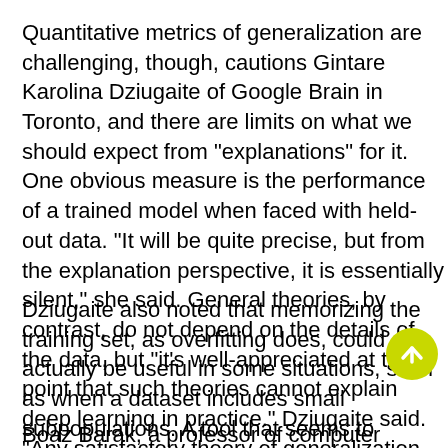Quantitative metrics of generalization are challenging, though, cautions Gintare Karolina Dziugaite of Google Brain in Toronto, and there are limits on what we should expect from "explanations" for it. One obvious measure is the performance of a trained model when faced with held-out data. "It will be quite precise, but from the explanation perspective, it is essentially silent," she said. General theories, by contrast, do not depend on the details of the data, but "it's well-appreciated at this point that such theories cannot explain deep learning in practice." Dziugaite said. "Any satisfactory theory of generalization should lie between those two regimes."
Dziugaite also noted that memorizing the training set, as overfitting does, could actually be useful in some situations, such as when a dataset includes small subpopulations. A tool that seems to generalize well on average might miss underrepresented examples, such as dark-skinned people in facial recognition data.
Boaz Barak, a professor of computer science at Harvard